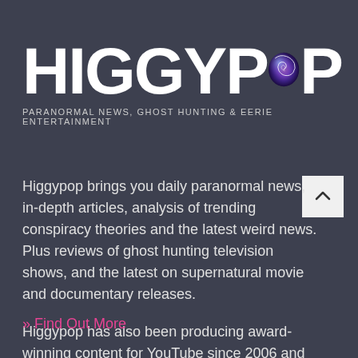[Figure (logo): Higgypop logo with large white bold text spelling HIGGYPOP with a purple/blue spiral galaxy graphic replacing the letter O, on dark slate background]
PARANORMAL NEWS, GHOST HUNTING & EERIE ENTERTAINMENT
Higgypop brings you daily paranormal news, in-depth articles, analysis of trending conspiracy theories and the latest weird news. Plus reviews of ghost hunting television shows, and the latest on supernatural movie and documentary releases.
Higgypop has also been producing award-winning content for YouTube since 2006 and has amassed more than 100,000 subscribers.
» Find Out More